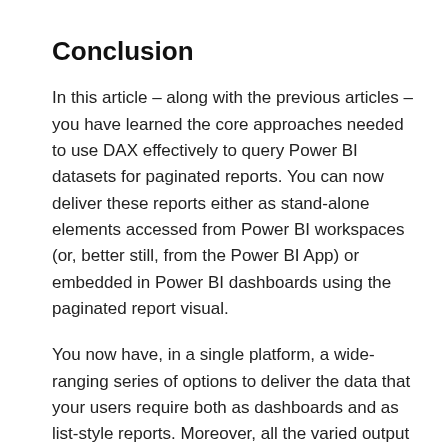Conclusion
In this article – along with the previous articles – you have learned the core approaches needed to use DAX effectively to query Power BI datasets for paginated reports. You can now deliver these reports either as stand-alone elements accessed from Power BI workspaces (or, better still, from the Power BI App) or embedded in Power BI dashboards using the paginated report visual.
You now have, in a single platform, a wide-ranging series of options to deliver the data that your users require both as dashboards and as list-style reports. Moreover, all the varied output styles can be created from a single source of data – a Power BI data model.